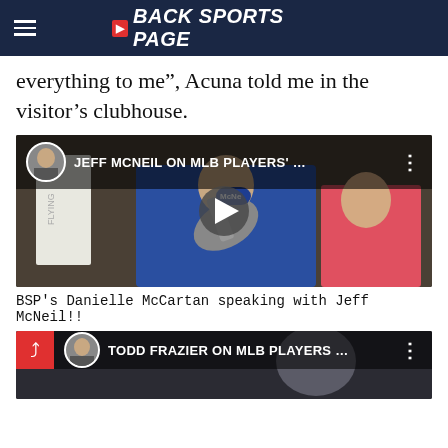BACK SPORTS PAGE
everything to me", Acuna told me in the visitor's clubhouse.
[Figure (screenshot): Video thumbnail showing Jeff McNeil holding a cleat/shoe in a locker room, with BSP reporter. Title overlay: JEFF MCNEIL ON MLB PLAYERS' ...]
BSP's Danielle McCartan speaking with Jeff McNeil!!
[Figure (screenshot): Second video thumbnail partially visible, title overlay: TODD FRAZIER ON MLB PLAYERS ...]